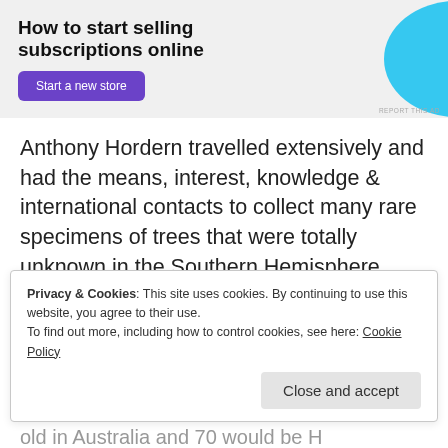[Figure (other): Advertisement banner with text 'How to start selling subscriptions online', a purple 'Start a new store' button, and a blue decorative graphic on the right. 'REPORT THIS AD' label at bottom right.]
Anthony Hordern travelled extensively and had the means, interest, knowledge & international contacts to collect many rare specimens of trees that were totally unknown in the Southern Hemisphere.
Many (trees) remain the oldest of their
Privacy & Cookies: This site uses cookies. By continuing to use this website, you agree to their use.
To find out more, including how to control cookies, see here: Cookie Policy
Close and accept
old in Australia and 70 would be H